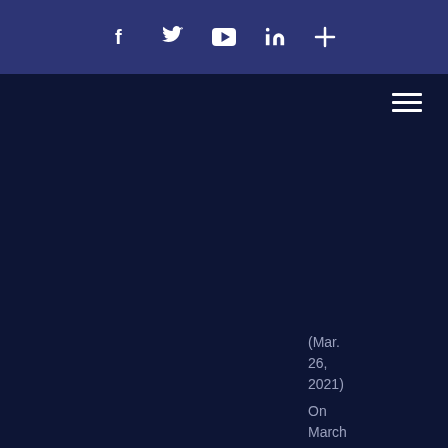Social media navigation bar with icons: Facebook, Twitter, YouTube, LinkedIn, Plus
[Figure (screenshot): Hamburger menu icon (three horizontal lines) in the top right of the dark navy content area]
(Mar. 26, 2021) On March 24, 2021, the